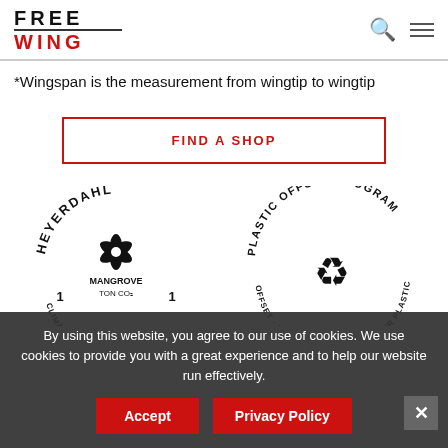FREE WING
*Wingspan is the measurement from wingtip to wingtip
FIND A SHOP
[Figure (logo): Heyerdahl Mangrove 1 / 1 TON CO2 climate offset logo badge in black]
[Figure (logo): Plastic Offset Program logo badge with recycling symbol in black]
By using this website, you agree to our use of cookies. We use cookies to provide you with a great experience and to help our website run effectively.
Accept
Privacy Policy